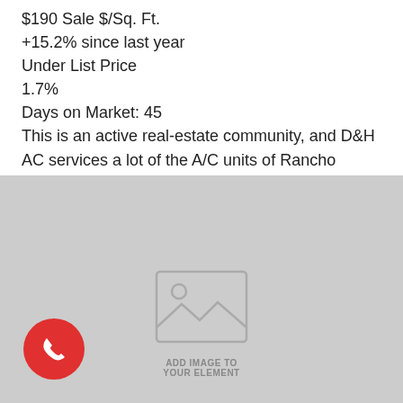$190 Sale $/Sq. Ft.
+15.2% since last year
Under List Price
1.7%
Days on Market: 45
This is an active real-estate community, and D&H AC services a lot of the A/C units of Rancho Vistoso.
[Figure (photo): Gray placeholder image with image icon and 'ADD IMAGE TO YOUR ELEMENT' label, with a red phone call button in the lower left corner]